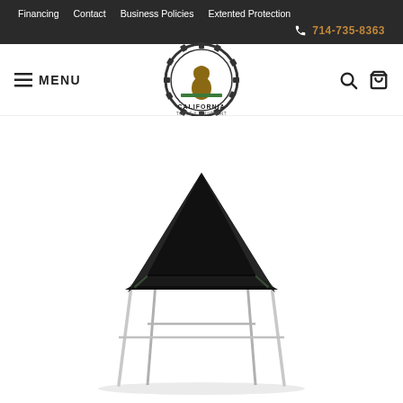Financing  Contact  Business Policies  Extented Protection  714-735-8363
[Figure (logo): California Tools & Equipment circular logo with gear border and bear/equipment illustration]
[Figure (photo): Black pop-up canopy/tent with silver angled legs on white background]